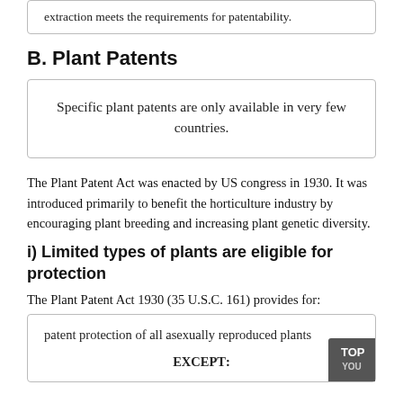extraction meets the requirements for patentability.
B. Plant Patents
Specific plant patents are only available in very few countries.
The Plant Patent Act was enacted by US congress in 1930. It was introduced primarily to benefit the horticulture industry by encouraging plant breeding and increasing plant genetic diversity.
i) Limited types of plants are eligible for protection
The Plant Patent Act 1930 (35 U.S.C. 161) provides for:
patent protection of all asexually reproduced plants

EXCEPT: